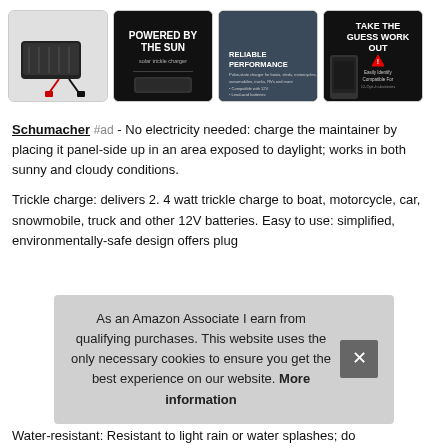[Figure (photo): Row of four product thumbnail images: a solar battery maintainer device with clamps; a dark promotional image saying 'Powered by the Sun'; a dashboard photo with 'Reliable Performance' text; a dark promotional image saying 'Take the Guess Work Out'.]
Schumacher #ad - No electricity needed: charge the maintainer by placing it panel-side up in an area exposed to daylight; works in both sunny and cloudy conditions.
Trickle charge: delivers 2. 4 watt trickle charge to boat, motorcycle, car, snowmobile, truck and other 12V batteries. Easy to use: simplified, environmentally-safe design offers plug
As an Amazon Associate I earn from qualifying purchases. This website uses the only necessary cookies to ensure you get the best experience on our website. More information
Water-resistant: Resistant to light rain or water splashes; do